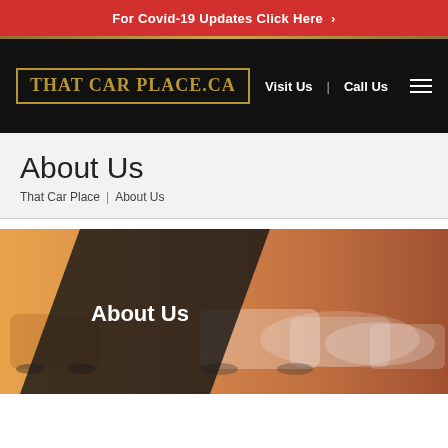For Covid-19 Updates Click Here >
[Figure (logo): That Car Place .ca logo with gold text and border on black background]
Visit Us | Call Us
About Us
That Car Place | About Us
[Figure (photo): Hero image showing a car dealership lot with multiple vehicles, warm golden lighting, with a dark diagonal overlay panel on the left side containing the text 'About Us' in white bold font]